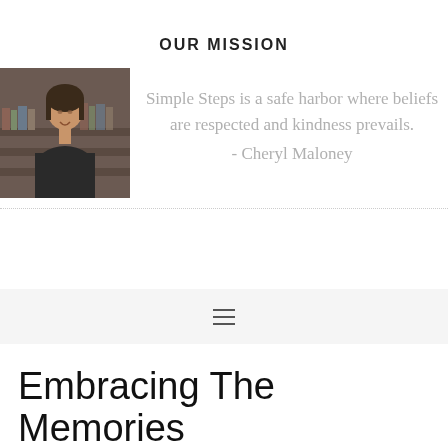OUR MISSION
[Figure (photo): Headshot photo of a woman with dark hair, smiling, with bookshelves in background]
Simple Steps is a safe harbor where beliefs are respected and kindness prevails. - Cheryl Maloney
[Figure (other): Hamburger menu icon (three horizontal lines)]
Embracing The Memories
March 11, 2015 by Rob Dorgan Steve Bolia